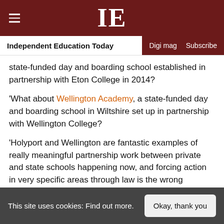IE — Independent Education Today
state-funded day and boarding school established in partnership with Eton College in 2014?
'What about Wellington Academy, a state-funded day and boarding school in Wiltshire set up in partnership with Wellington College?
'Holyport and Wellington are fantastic examples of really meaningful partnership work between private and state schools happening now, and forcing action in very specific areas through law is the wrong approach.'
Chris King, Chair of HMC and Headmaster
This site uses cookies: Find out more.